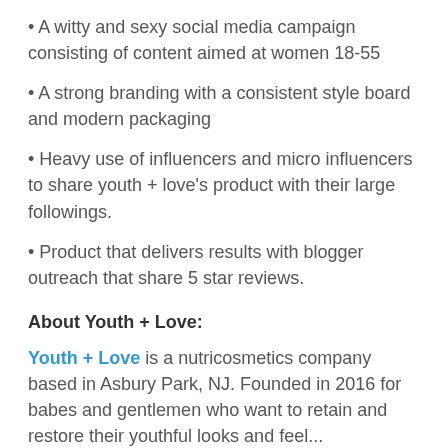• A witty and sexy social media campaign consisting of content aimed at women 18-55
• A strong branding with a consistent style board and modern packaging
• Heavy use of influencers and micro influencers to share youth + love's product with their large followings.
• Product that delivers results with blogger outreach that share 5 star reviews.
About Youth + Love:
Youth + Love is a nutricosmetics company based in Asbury Park, NJ. Founded in 2016 for babes and gentlemen who want to retain and restore their youthful looks and feel. Our hero ingredient is...